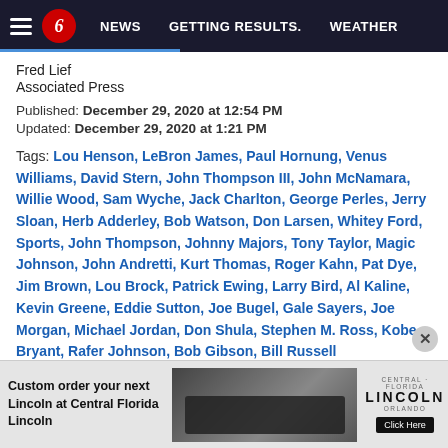NEWS | GETTING RESULTS. | WEATHER
Fred Lief
Associated Press
Published: December 29, 2020 at 12:54 PM
Updated: December 29, 2020 at 1:21 PM
Tags: Lou Henson, LeBron James, Paul Hornung, Venus Williams, David Stern, John Thompson III, John McNamara, Willie Wood, Sam Wyche, Jack Charlton, George Perles, Jerry Sloan, Herb Adderley, Bob Watson, Don Larsen, Whitey Ford, Sports, John Thompson, Johnny Majors, Tony Taylor, Magic Johnson, John Andretti, Kurt Thomas, Roger Kahn, Pat Dye, Jim Brown, Lou Brock, Patrick Ewing, Larry Bird, Al Kaline, Kevin Greene, Eddie Sutton, Joe Bugel, Gale Sayers, Joe Morgan, Michael Jordan, Don Shula, Stephen M. Ross, Kobe Bryant, Rafer Johnson, Bob Gibson, Bill Russell
[Figure (screenshot): Advertisement for Central Florida Lincoln showing a black Lincoln SUV with text 'Custom order your next Lincoln at Central Florida Lincoln' and a 'Click Here' button.]